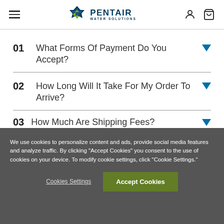Pentair Water Solutions navigation header
01 What Forms Of Payment Do You Accept?
02 How Long Will It Take For My Order To Arrive?
03 How Much Are Shipping Fees?
We use cookies to personalize content and ads, provide social media features and analyze traffic. By clicking "Accept Cookies" you consent to the use of cookies on your device. To modify cookie settings, click "Cookie Settings."
Cookies Settings | Accept Cookies